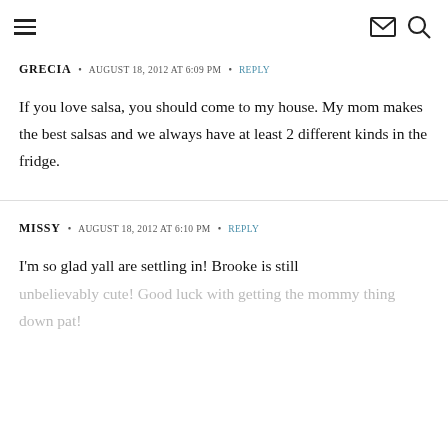Navigation header with hamburger menu, mail icon, and search icon
GRECIA • AUGUST 18, 2012 AT 6:09 PM • REPLY
If you love salsa, you should come to my house. My mom makes the best salsas and we always have at least 2 different kinds in the fridge.
MISSY • AUGUST 18, 2012 AT 6:10 PM • REPLY
I'm so glad yall are settling in! Brooke is still unbelievably cute! Good luck with getting the mommy thing down pat!